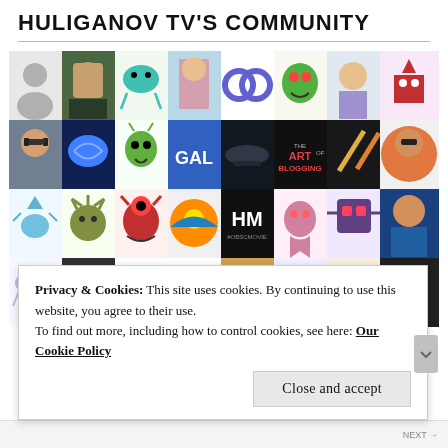HULIGANOV TV'S COMMUNITY
[Figure (photo): A mosaic/grid of community member avatars and profile pictures including cartoon characters, real photos of people, logos, and icons arranged in a 5-row by 10-column grid.]
Privacy & Cookies: This site uses cookies. By continuing to use this website, you agree to their use.
To find out more, including how to control cookies, see here: Our Cookie Policy
Close and accept